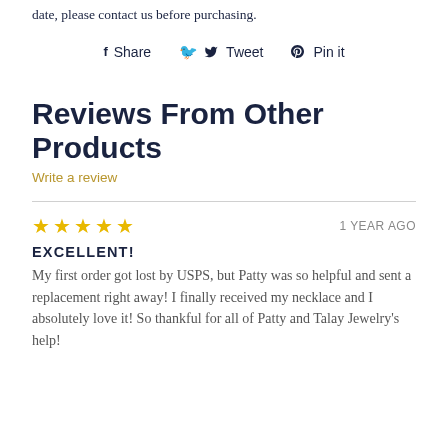date, please contact us before purchasing.
Share   Tweet   Pin it
Reviews From Other Products
Write a review
★★★★★   1 YEAR AGO
EXCELLENT!
My first order got lost by USPS, but Patty was so helpful and sent a replacement right away! I finally received my necklace and I absolutely love it! So thankful for all of Patty and Talay Jewelry's help!